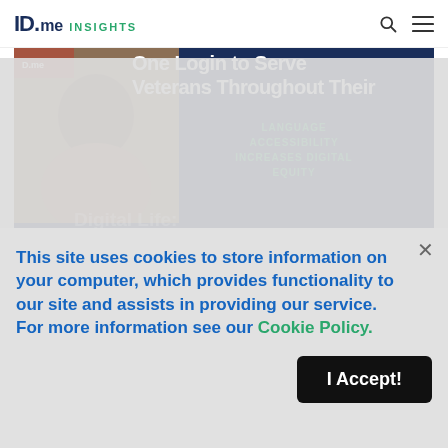ID.me INSIGHTS
[Figure (screenshot): Hero image showing a man's photo overlaid with article titles about 'One Login to Serve Veterans Throughout Their Digital Life' and 'Language Accessibility Increases Digital Equity' on a dark navy background]
One Login to Serve Veterans Throughout Their Digital Life: Government, Non-profits and the Private Sector
without the need to carry and present physical identification paperwork at every Government
Why ID.me: Government
This site uses cookies to store information on your computer, which provides functionality to our site and assists in providing our service. For more information see our Cookie Policy.
I Accept!